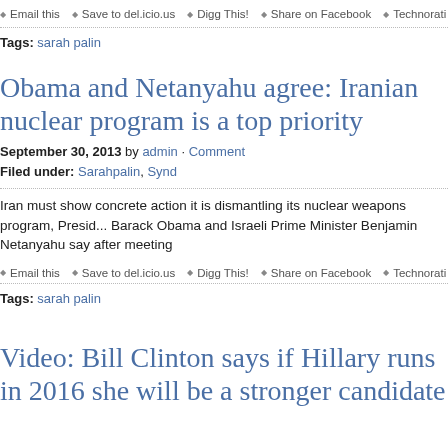Email this · Save to del.icio.us · Digg This! · Share on Facebook · Technorati Link
Tags: sarah palin
Obama and Netanyahu agree: Iranian nuclear program is a top priority
September 30, 2013 by admin · Comment
Filed under: Sarahpalin, Synd
Iran must show concrete action it is dismantling its nuclear weapons program, President Barack Obama and Israeli Prime Minister Benjamin Netanyahu say after meeting
Email this · Save to del.icio.us · Digg This! · Share on Facebook · Technorati Link
Tags: sarah palin
Video: Bill Clinton says if Hillary runs in 2016 she will be a stronger candidate